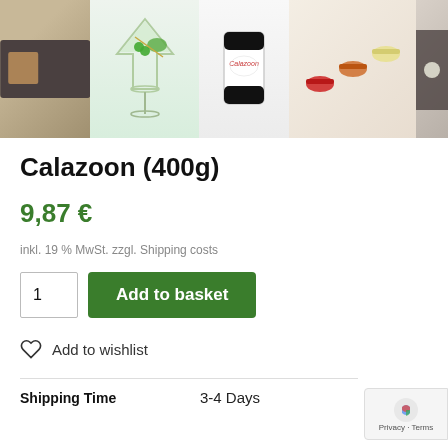[Figure (photo): Product images showing Calazoon 400g: cocktail with green garnish, can/tin of Calazoon, colorful sauces in spoons, and dark slate with food items]
Calazoon (400g)
9,87 €
inkl. 19 % MwSt. zzgl. Shipping costs
1
Add to basket
Add to wishlist
| Shipping Time |  |
| --- | --- |
| Shipping Time | 3-4 Days |